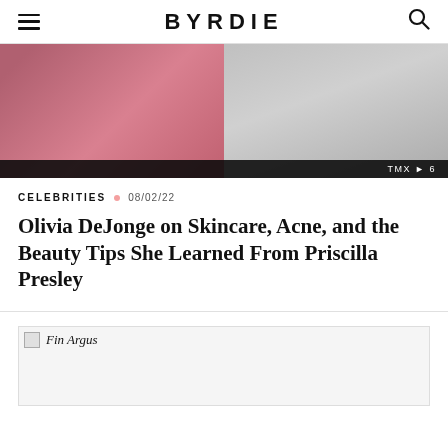BYRDIE
[Figure (photo): Hero image showing a person in a pink/red top on the left half and a paved outdoor area on the right half, with a TMX black bar at the bottom]
CELEBRITIES  08/02/22
Olivia DeJonge on Skincare, Acne, and the Beauty Tips She Learned From Priscilla Presley
[Figure (photo): Broken/loading image placeholder labeled 'Fin Argus']